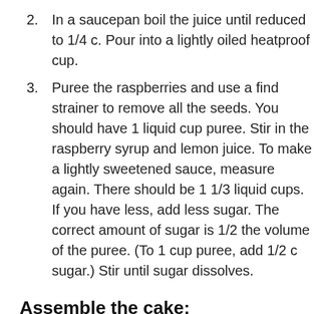2. In a saucepan boil the juice until reduced to 1/4 c. Pour into a lightly oiled heatproof cup.
3. Puree the raspberries and use a find strainer to remove all the seeds. You should have 1 liquid cup puree. Stir in the raspberry syrup and lemon juice. To make a lightly sweetened sauce, measure again. There should be 1 1/3 liquid cups. If you have less, add less sugar. The correct amount of sugar is 1/2 the volume of the puree. (To 1 cup puree, add 1/2 c sugar.) Stir until sugar dissolves.
Assemble the cake:
1. Level and divide each cake into 2 layers